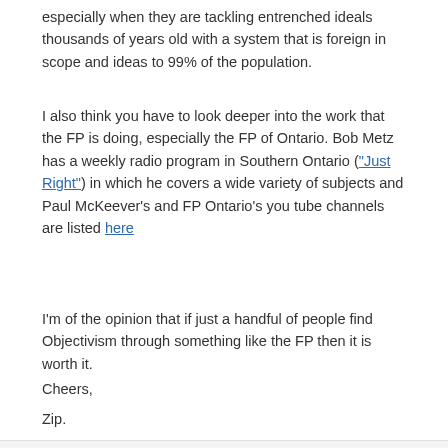especially when they are tackling entrenched ideals thousands of years old with a system that is foreign in scope and ideas to 99% of the population.
I also think you have to look deeper into the work that the FP is doing, especially the FP of Ontario. Bob Metz has a weekly radio program in Southern Ontario ("Just Right") in which he covers a wide variety of subjects and Paul McKeever's and FP Ontario's you tube channels are listed here
I'm of the opinion that if just a handful of people find Objectivism through something like the FP then it is worth it.
Cheers,
Zip.
Duke · 0
Members
376 posts